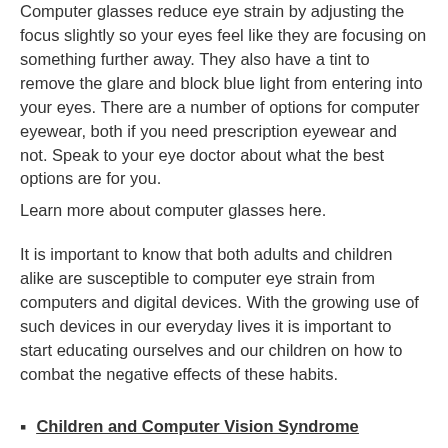Computer glasses reduce eye strain by adjusting the focus slightly so your eyes feel like they are focusing on something further away. They also have a tint to remove the glare and block blue light from entering into your eyes. There are a number of options for computer eyewear, both if you need prescription eyewear and not. Speak to your eye doctor about what the best options are for you.
Learn more about computer glasses here.
It is important to know that both adults and children alike are susceptible to computer eye strain from computers and digital devices. With the growing use of such devices in our everyday lives it is important to start educating ourselves and our children on how to combat the negative effects of these habits.
Children and Computer Vision Syndrome
Fact: More children use computers and digital screens